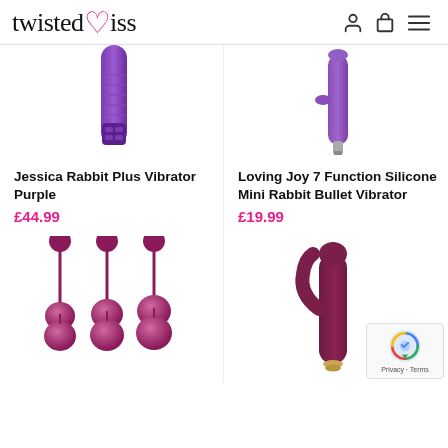twistedmiss
[Figure (photo): Purple vibrator product image (top, cropped) - Jessica Rabbit Plus Vibrator Purple]
Jessica Rabbit Plus Vibrator Purple
£44.99
[Figure (photo): Purple silicone mini rabbit bullet vibrator product image (top, cropped) - Loving Joy 7 Function]
Loving Joy 7 Function Silicone Mini Rabbit Bullet Vibrator
£19.99
[Figure (photo): Set of three dark pink/maroon kegel balls on strings product image]
[Figure (photo): Dark red/maroon rabbit vibrator product image]